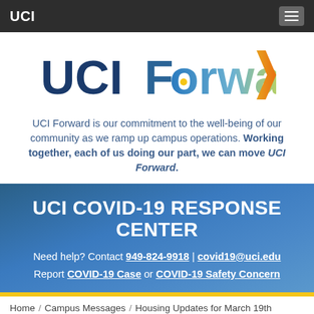UCI
[Figure (logo): UCI Forward logo with blue UCI text and gradient Forward text in blue-to-yellow with orange arrow]
UCI Forward is our commitment to the well-being of our community as we ramp up campus operations. Working together, each of us doing our part, we can move UCI Forward.
UCI COVID-19 RESPONSE CENTER
Need help? Contact 949-824-9918 | covid19@uci.edu
Report COVID-19 Case or COVID-19 Safety Concern
Home / Campus Messages / Housing Updates for March 19th